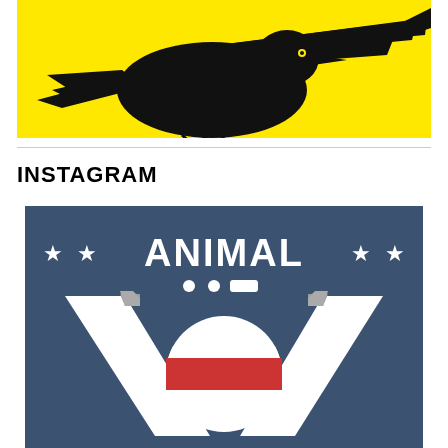[Figure (illustration): Black silhouette of a bird (crow/raven) on a bright yellow background]
INSTAGRAM
[Figure (logo): Graphic with blue background showing 'ANIMAL' text with stars, large letter V with a circular emblem featuring red and white stripes, resembling a veterinary or animal organization logo]